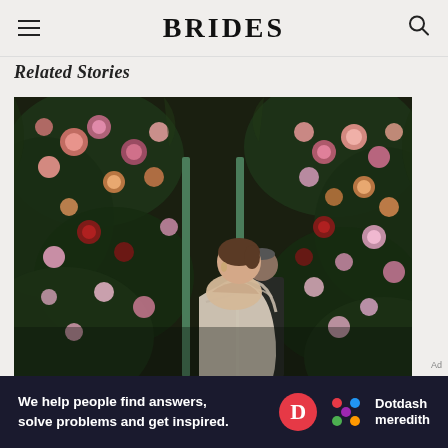BRIDES
Related Stories
[Figure (photo): A woman in an elegant off-shoulder satin/silk white gown standing in front of a lush floral wall covered in pink, red, orange, and white roses with green foliage. A man in a dark suit is visible in the background.]
Ad
We help people find answers, solve problems and get inspired. Dotdash meredith